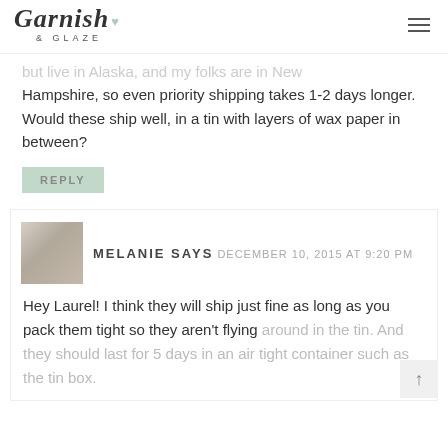Garnish & Glaze
but live in Alaska, and my folks are in New Hampshire, so even priority shipping takes 1-2 days longer.
Would these ship well, in a tin with layers of wax paper in between?
REPLY
MELANIE SAYS
DECEMBER 10, 2015 AT 9:20 PM
Hey Laurel! I think they will ship just fine as long as you pack them tight so they aren't flying around in the tin. And they should last for 5 days in an air tight container such as the tin box.